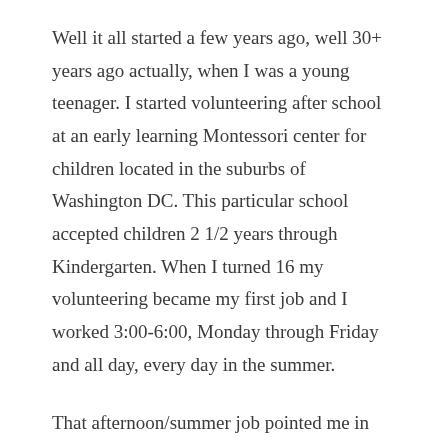Well it all started a few years ago, well 30+ years ago actually, when I was a young teenager. I started volunteering after school at an early learning Montessori center for children located in the suburbs of Washington DC. This particular school accepted children 2 1/2 years through Kindergarten. When I turned 16 my volunteering became my first job and I worked 3:00-6:00, Monday through Friday and all day, every day in the summer.
That afternoon/summer job pointed me in the direction of what would become a rewarding career choice. After high school, I attended one of those small colleges, one that has since matured into a university. Then came the fun stuff (well there might have been a little fun in college too, but we will save…